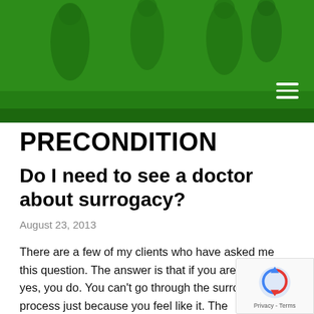[Figure (photo): Green-tinted header image showing blurred people walking, overlaid with dark green color. Hamburger menu icon (three white horizontal lines) visible in the upper right area.]
PRECONDITION
Do I need to see a doctor about surrogacy?
August 23, 2013
There are a few of my clients who have asked me this question. The answer is that if you are a woman, yes, you do. You can't go through the surrogacy process just because you feel like it. The